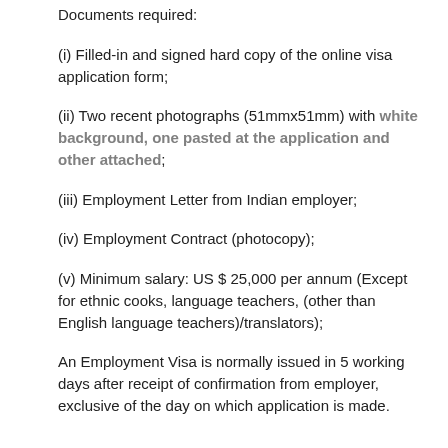Documents required:
(i) Filled-in and signed hard copy of the online visa application form;
(ii) Two recent photographs (51mmx51mm) with white background, one pasted at the application and other attached;
(iii) Employment Letter from Indian employer;
(iv) Employment Contract (photocopy);
(v) Minimum salary: US $ 25,000 per annum (Except for ethnic cooks, language teachers, (other than English language teachers)/translators);
An Employment Visa is normally issued in 5 working days after receipt of confirmation from employer, exclusive of the day on which application is made.